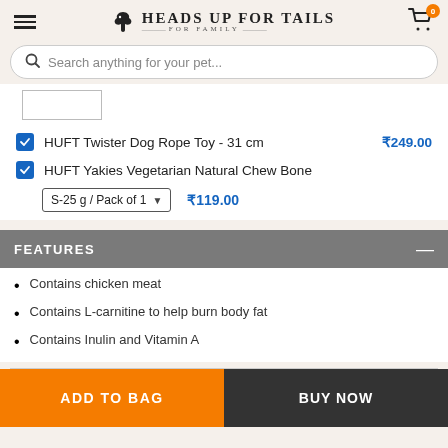[Figure (logo): Heads Up For Tails logo with dog silhouette and brand name]
Search anything for your pet...
HUFT Twister Dog Rope Toy - 31 cm ₹249.00
HUFT Yakies Vegetarian Natural Chew Bone
S-25 g / Pack of 1  ₹119.00
FEATURES
Contains chicken meat
Contains L-carnitine to help burn body fat
Contains Inulin and Vitamin A
ADD TO BAG
BUY NOW